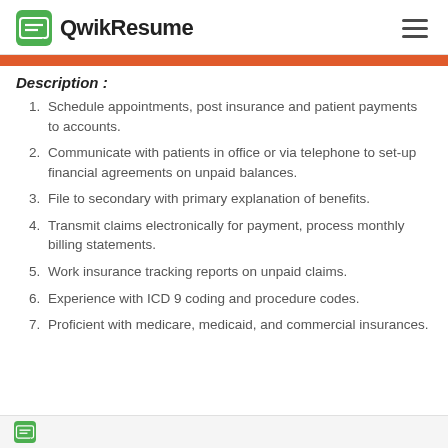QwikResume
Description :
Schedule appointments, post insurance and patient payments to accounts.
Communicate with patients in office or via telephone to set-up financial agreements on unpaid balances.
File to secondary with primary explanation of benefits.
Transmit claims electronically for payment, process monthly billing statements.
Work insurance tracking reports on unpaid claims.
Experience with ICD 9 coding and procedure codes.
Proficient with medicare, medicaid, and commercial insurances.